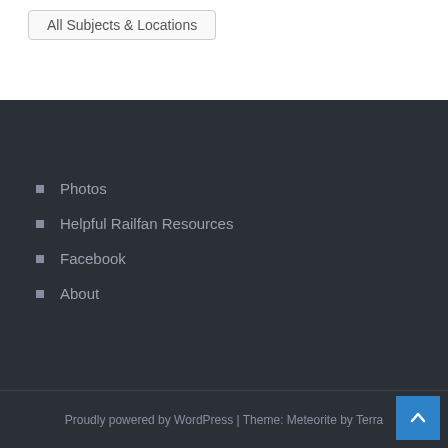All Subjects & Locations
Photos
Helpful Railfan Resources
Facebook
About
Proudly powered by WordPress | Theme: Meteorite by Terra